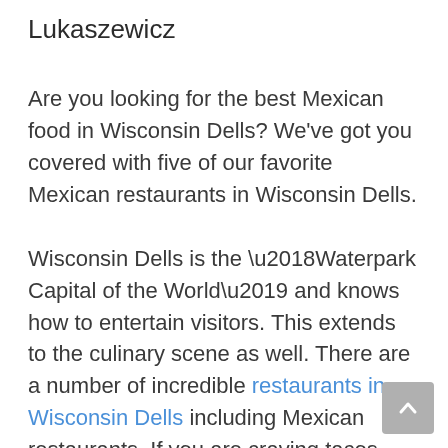Lukaszewicz
Are you looking for the best Mexican food in Wisconsin Dells? We've got you covered with five of our favorite Mexican restaurants in Wisconsin Dells.
Wisconsin Dells is the ‘Waterpark Capital of the World’ and knows how to entertain visitors. This extends to the culinary scene as well. There are a number of incredible restaurants in Wisconsin Dells including Mexican restaurants. If you are craving tacos, enchiladas, or nachos, you’re in the right place.